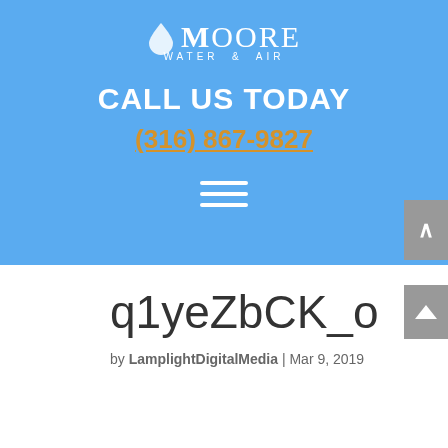[Figure (logo): Moore Water & Air logo with water drop icon, white text on blue background]
CALL US TODAY
(316) 867-9827
[Figure (other): Hamburger menu icon with three white horizontal lines]
q1yeZbCK_o
by LamplightDigitalMedia | Mar 9, 2019